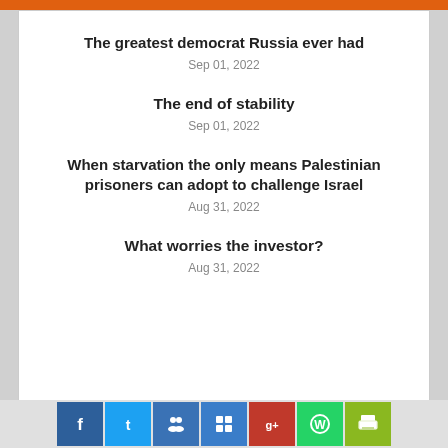The greatest democrat Russia ever had
Sep 01, 2022
The end of stability
Sep 01, 2022
When starvation the only means Palestinian prisoners can adopt to challenge Israel
Aug 31, 2022
What worries the investor?
Aug 31, 2022
OPINION
Editorial